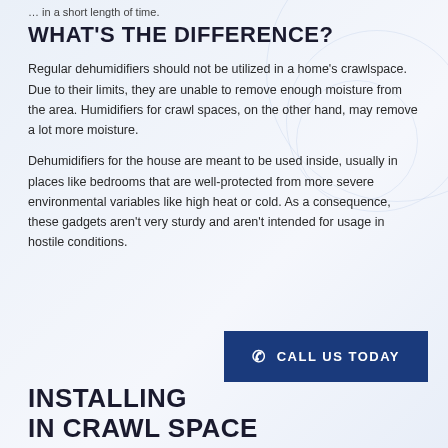… in a short length of time.
WHAT'S THE DIFFERENCE?
Regular dehumidifiers should not be utilized in a home's crawlspace. Due to their limits, they are unable to remove enough moisture from the area. Humidifiers for crawl spaces, on the other hand, may remove a lot more moisture.
Dehumidifiers for the house are meant to be used inside, usually in places like bedrooms that are well-protected from more severe environmental variables like high heat or cold. As a consequence, these gadgets aren't very sturdy and aren't intended for usage in hostile conditions.
INSTALLING … IN CRAWL SPACE
CALL US TODAY